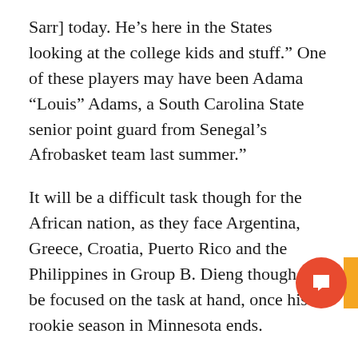Sarr] today. He’s here in the States looking at the college kids and stuff.” One of these players may have been Adama “Louis” Adams, a South Carolina State senior point guard from Senegal’s Afrobasket team last summer.”
It will be a difficult task though for the African nation, as they face Argentina, Greece, Croatia, Puerto Rico and the Philippines in Group B. Dieng though will be focused on the task at hand, once his rookie season in Minnesota ends.
“I’m looking forward to going back and fight for my country,” Dieng said
“Whatever it takes. If they need me to score, I can score. If they need me to protect the rim, I can do. It’s not me decide what I want to do. It’s how the coach wants to use me. I will do whatever the coach wants [me to do].”